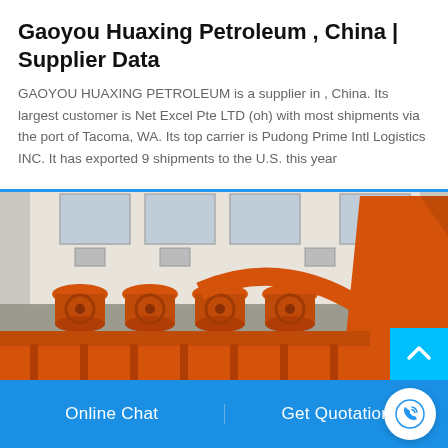Gaoyou Huaxing Petroleum , China | Supplier Data
GAOYOU HUAXING PETROLEUM is a supplier in , China. Its largest customer is Net Excel Pte LTD (oh) with most shipments via the port of Tacoma, WA. Its top carrier is Pudong Prime Intl Logistics INC. It has exported 9 shipments to the U.S. this year
[Figure (photo): Industrial orange-colored machinery (jaw crushers / mining equipment) lined up in a factory yard with white building in background]
Online Chat
Get Quotation